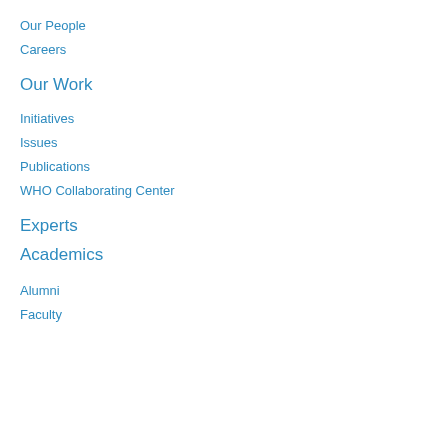Our People
Careers
Our Work
Initiatives
Issues
Publications
WHO Collaborating Center
Experts
Academics
Alumni
Faculty